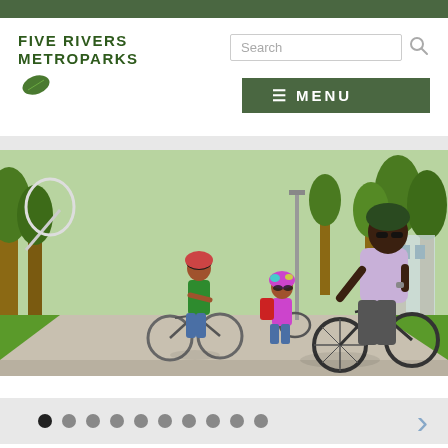Five Rivers Metroparks
[Figure (screenshot): Website screenshot of Five Rivers Metroparks homepage showing navigation header with logo, search bar, and green MENU button, followed by a photo slideshow of a family riding bicycles on a park path, with slideshow navigation dots at the bottom]
Search
≡ MENU